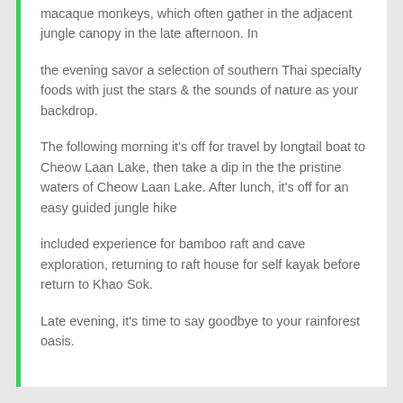macaque monkeys, which often gather in the adjacent jungle canopy in the late afternoon. In
the evening savor a selection of southern Thai specialty foods with just the stars & the sounds of nature as your backdrop.
The following morning it's off for travel by longtail boat to Cheow Laan Lake, then take a dip in the the pristine waters of Cheow Laan Lake. After lunch, it's off for an easy guided jungle hike
included experience for bamboo raft and cave exploration, returning to raft house for self kayak before return to Khao Sok.
Late evening, it's time to say goodbye to your rainforest oasis.